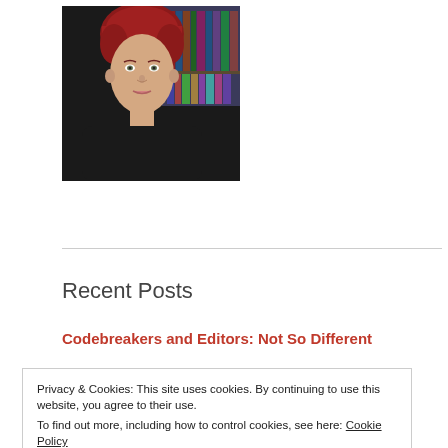[Figure (photo): Headshot photo of a woman with short red hair wearing a black top, with bookshelves visible in the background]
Recent Posts
Codebreakers and Editors: Not So Different
Privacy & Cookies: This site uses cookies. By continuing to use this website, you agree to their use.
To find out more, including how to control cookies, see here: Cookie Policy
Close and accept